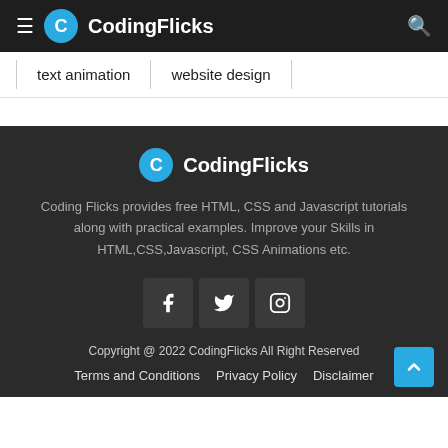≡ CodingFlicks 🔍
text animation
website design
CodingFlicks
Coding Flicks provides free HTML, CSS and Javascript tutorials along with practical examples. Improve your Skills in HTML,CSS,Javascript, CSS Animations etc.
[Figure (logo): Social media icons: Facebook, Twitter, Instagram in dark square boxes]
Copyright @ 2022 CodingFlicks All Right Reserved  Terms and Conditions  Privacy Policy  Disclaimer